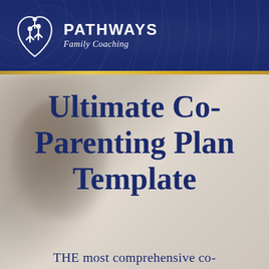[Figure (logo): Pathways Family Coaching logo with stylized heart/people icon in white on dark navy blue background with decorative floral pattern. Logo includes company name PATHWAYS in large bold uppercase letters and 'Family Coaching' in italic beneath.]
Ultimate Co-Parenting Plan Template
THE most comprehensive co-